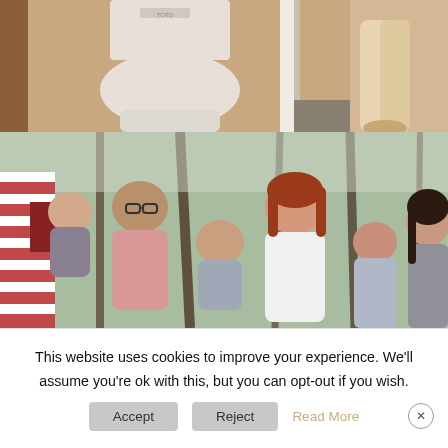[Figure (photo): Top portion of a photo showing a toilet/bathroom interior scene with beige/tan colors, a person's lower legs visible on the right side wearing light-colored pants]
[Figure (photo): Family photo outdoors in a forested area with pine trees. Shows a man with glasses and beard holding a young child, a woman with red hair in white robe, and two girls, all smiling at camera. Red and white striped siding visible on left.]
This website uses cookies to improve your experience. We'll assume you're ok with this, but you can opt-out if you wish.
Accept   Reject   Read More   ×